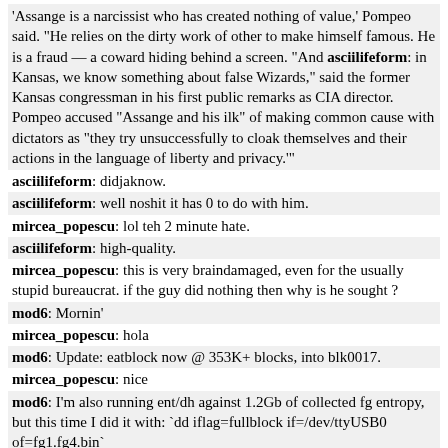'Assange is a narcissist who has created nothing of value,' Pompeo said. "He relies on the dirty work of other to make himself famous. He is a fraud — a coward hiding behind a screen. "And asciilifeform: in Kansas, we know something about false Wizards," said the former Kansas congressman in his first public remarks as CIA director. Pompeo accused "Assange and his ilk" of making common cause with dictators as "they try unsuccessfully to cloak themselves and their actions in the language of liberty and privacy."'
asciilifeform: didjaknow.
asciilifeform: well noshit it has 0 to do with him.
mircea_popescu: lol teh 2 minute hate.
asciilifeform: high-quality.
mircea_popescu: this is very braindamaged, even for the usually stupid bureaucrat. if the guy did nothing then why is he sought ?
mod6: Mornin'
mircea_popescu: hola
mod6: Update: eatblock now @ 353K+ blocks, into blk0017.
mircea_popescu: nice
mod6: I'm also running ent/dh against 1.2Gb of collected fg entropy, but this time I did it with: `dd iflag=fullblock if=/dev/ttyUSB0 of=fg1.fg4.bin`
mod6: will report out results here when it's complete :]
mod6: http://www.mod6.net/fg/fg-test/fg1.ent_run4.txt
http://www.mod6.net/fg/fg-test/fg1.dieharder_run4.txt
asciilifeform: mod6, mircea_popescu, et al : any reply from the